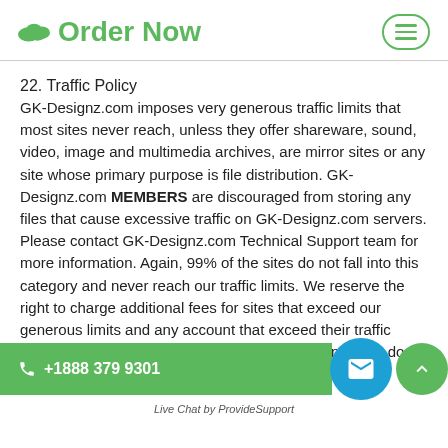Order Now
22. Traffic Policy
GK-Designz.com imposes very generous traffic limits that most sites never reach, unless they offer shareware, sound, video, image and multimedia archives, are mirror sites or any site whose primary purpose is file distribution. GK-Designz.com MEMBERS are discouraged from storing any files that cause excessive traffic on GK-Designz.com servers. Please contact GK-Designz.com Technical Support team for more information. Again, 99% of the sites do not fall into this category and never reach our traffic limits. We reserve the right to charge additional fees for sites that exceed our generous limits and any account that exceed their traffic limits will be suspended without prior notification if they do not purchase add-on traffic packages.
[Figure (other): Green phone button showing +1888 379 9301, blue circular email button, green circular scroll-up button, and Live Chat by ProvideSupport label]